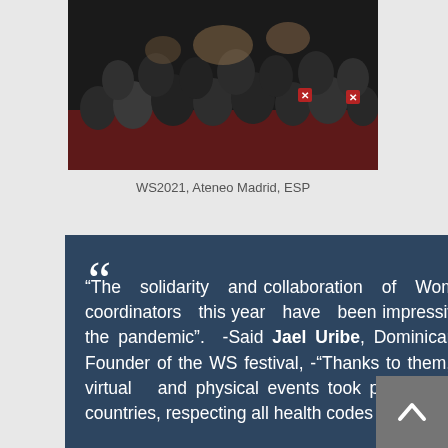[Figure (photo): Audience seated in a large hall at WS2021 event at Ateneo Madrid, ESP. People are seated on red-carpeted floor and chairs, some holding signs with an X mark.]
WS2021, Ateneo Madrid, ESP
“The solidarity and collaboration of Woman Scream coordinators this year have been impressive, in spite of the pandemic”. -Said Jael Uribe, Dominican author and Founder of the WS festival, -“Thanks to them, over 140 virtual and physical events took place in over 20 countries, respecting all health codes
[Figure (other): Back-to-top navigation button, grey square with upward chevron arrow in white]